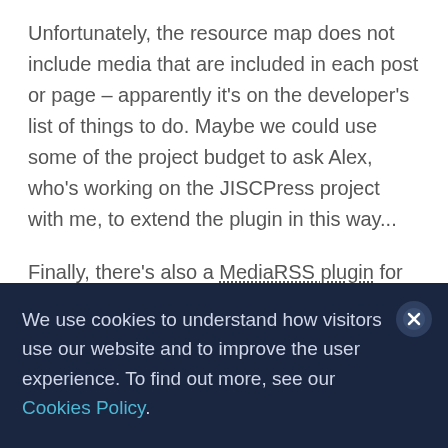Unfortunately, the resource map does not include media that are included in each post or page – apparently it's on the developer's list of things to do. Maybe we could use some of the project budget to ask Alex, who's working on the JISCPress project with me, to extend the plugin in this way...
Finally, there's also a MediaRSS plugin for WordPress, which could enhance the RSS feeds to include all the media used in the course...
We use cookies to understand how visitors use our website and to improve the user experience. To find out more, see our Cookies Policy.